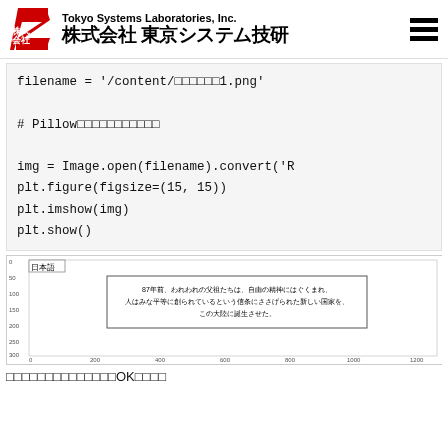Tokyo Systems Laboratories, Inc. / 株式会社 東京システム技研
filename = '/content/□□□□□□1.png'

# Pillow□□□□□□□□□□□

img = Image.open(filename).convert('R
plt.figure(figsize=(15, 15))
plt.imshow(img)
plt.show()
[Figure (screenshot): A matplotlib-style chart window showing Japanese text inside a rectangle on a white background with axis tick marks. The image shows axis ticks from 0 to ~1200 on x-axis and 0 to ~300 on y-axis. Inside the chart is a tab labeled '日本語' and a bordered rectangle containing the Japanese text: '87年前、われわれの父祖たちは、自由の精神にはぐくまれ、人はみな平等に創られているという信条にささげられた新しい国家を、この大陸に誕生させた。']
□□□□□□□□□□□□□□OK□□□□